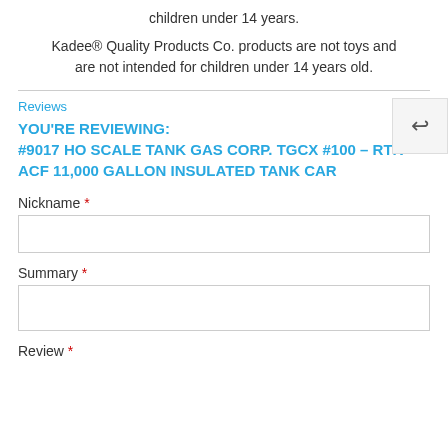children under 14 years.
Kadee® Quality Products Co. products are not toys and are not intended for children under 14 years old.
Reviews
YOU'RE REVIEWING:
#9017 HO SCALE TANK GAS CORP. TGCX #100 – RTR ACF 11,000 GALLON INSULATED TANK CAR
Nickname *
Summary *
Review *